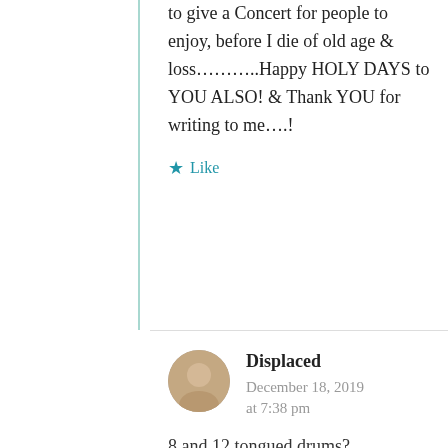to give a Concert for people to enjoy, before I die of old age & loss………..Happy HOLY DAYS to YOU ALSO! & Thank YOU for writing to me….!
★ Like
Displaced
December 18, 2019 at 7:38 pm
8 and 12 tongued drums?